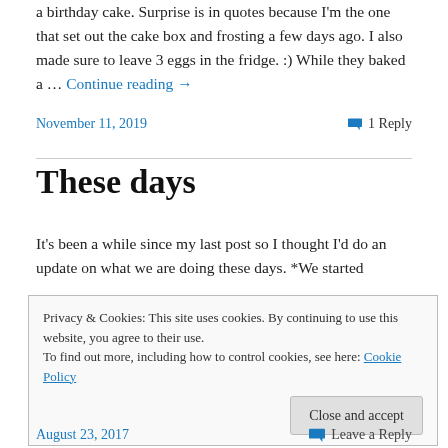a birthday cake. Surprise is in quotes because I'm the one that set out the cake box and frosting a few days ago. I also made sure to leave 3 eggs in the fridge. :) While they baked a … Continue reading →
November 11, 2019   1 Reply
These days
It's been a while since my last post so I thought I'd do an update on what we are doing these days. *We started
Privacy & Cookies: This site uses cookies. By continuing to use this website, you agree to their use. To find out more, including how to control cookies, see here: Cookie Policy  Close and accept
August 23, 2017   Leave a Reply